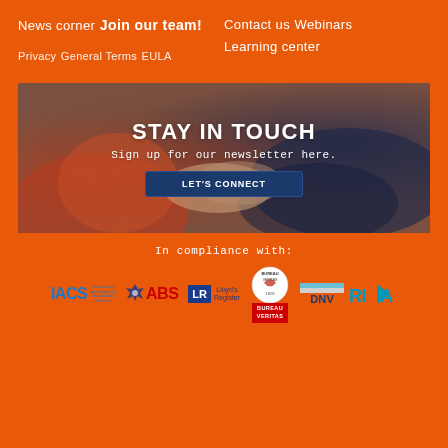News corner
Join our team!
Privacy
General Terms
EULA
Contact us
Webinars
Learning center
[Figure (photo): Two people shaking hands with overlay text 'STAY IN TOUCH' and subtitle 'Sign up for our newsletter here.' and a button 'LET'S CONNECT']
In compliance with:
[Figure (logo): Logos of IACS, ABS, Lloyd's Register, Bureau Veritas, DNV, RINA certification bodies]